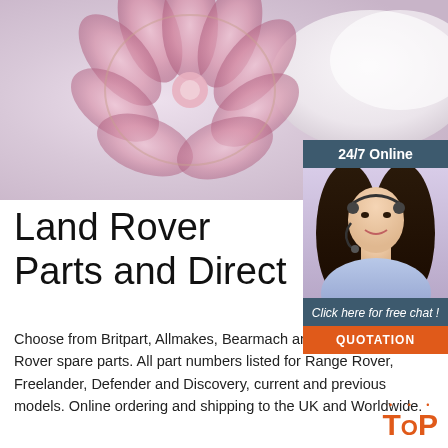[Figure (photo): Close-up photo of a pink translucent flower-shaped brooch or jewelry piece on a light grey/white background with a white ceramic bowl partially visible]
[Figure (infographic): 24/7 Online customer service chat widget showing a woman with a headset, 'Click here for free chat!' text, and an orange QUOTATION button]
Land Rover Parts and Direct
Choose from Britpart, Allmakes, Bearmach and genuine Land Rover spare parts. All part numbers listed for Range Rover, Freelander, Defender and Discovery, current and previous models. Online ordering and shipping to the UK and Worldwide.